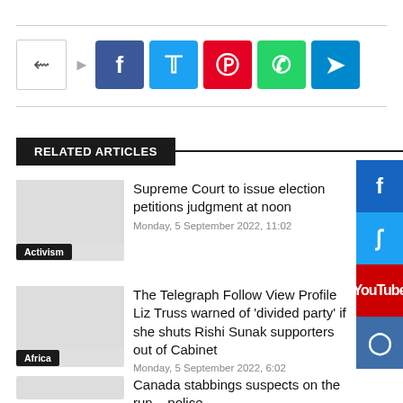[Figure (infographic): Social share bar with share icon, Facebook, Twitter, Pinterest, WhatsApp, and Telegram buttons]
RELATED ARTICLES
Supreme Court to issue election petitions judgment at noon
Monday, 5 September 2022, 11:02
Activism
The Telegraph Follow View Profile Liz Truss warned of 'divided party' if she shuts Rishi Sunak supporters out of Cabinet
Monday, 5 September 2022, 6:02
Africa
Canada stabbings suspects on the run – police